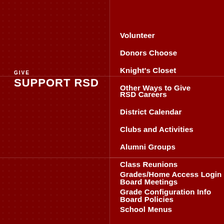GIVE
SUPPORT RSD
Volunteer
Donors Choose
Knight's Closet
Other Ways to Give
CONNECT
GET INVOLVED
RSD Careers
District Calendar
Clubs and Activities
Alumni Groups
Class Reunions
Board Meetings
Board Policies
Grades/Home Access Login
Grade Configuration Info
School Menus